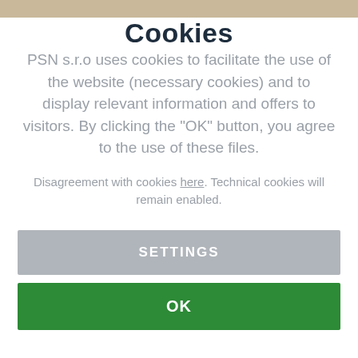Cookies
PSN s.r.o uses cookies to facilitate the use of the website (necessary cookies) and to display relevant information and offers to visitors. By clicking the "OK" button, you agree to the use of these files.
Disagreement with cookies here. Technical cookies will remain enabled.
SETTINGS
OK